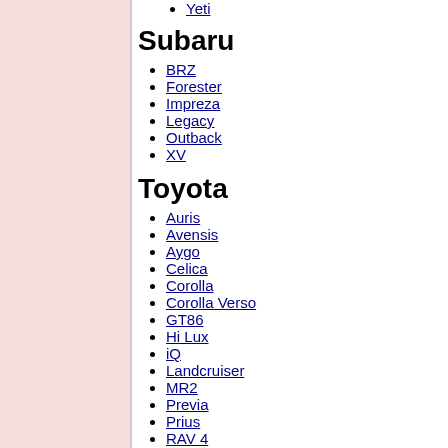Yeti
Subaru
BRZ
Forester
Impreza
Legacy
Outback
XV
Toyota
Auris
Avensis
Aygo
Celica
Corolla
Corolla Verso
GT86
Hi Lux
iQ
Landcruiser
MR2
Previa
Prius
RAV 4